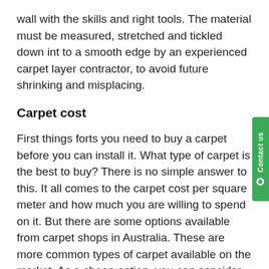wall with the skills and right tools. The material must be measured, stretched and tickled down int to a smooth edge by an experienced carpet layer contractor, to avoid future shrinking and misplacing.
Carpet cost
First things forts you need to buy a carpet before you can install it. What type of carpet is the best to buy? There is no simple answer to this. It all comes to the carpet cost per square meter and how much you are willing to spend on it. But there are some options available from carpet shops in Australia. These are more common types of carpet available on the market. As a cheap option, you can consider polyester or nylon. These options are also durable and stain-resistant. There is also a wool option if